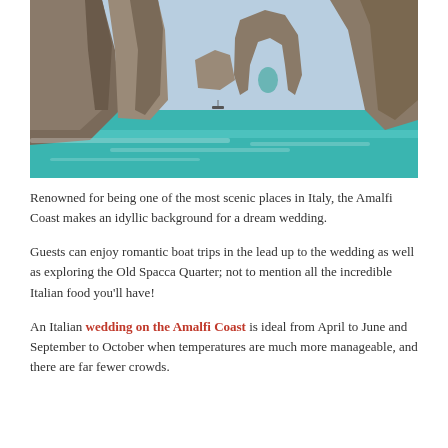[Figure (photo): Coastal rock formations at the Amalfi Coast, Italy. Tall rugged limestone cliffs frame a turquoise sea, with a natural arch visible in a distant rock formation.]
Renowned for being one of the most scenic places in Italy, the Amalfi Coast makes an idyllic background for a dream wedding.
Guests can enjoy romantic boat trips in the lead up to the wedding as well as exploring the Old Spacca Quarter; not to mention all the incredible Italian food you'll have!
An Italian wedding on the Amalfi Coast is ideal from April to June and September to October when temperatures are much more manageable, and there are far fewer crowds.